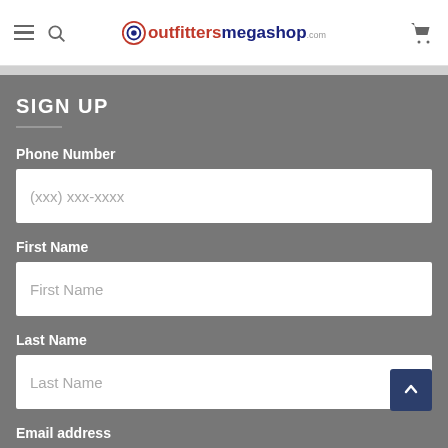outfittersmegashop.com
SIGN UP
Phone Number
(xxx) xxx-xxxx
First Name
First Name
Last Name
Last Name
Email address